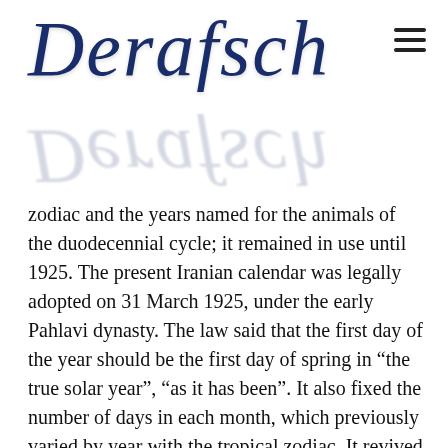Derafsch
zodiac and the years named for the animals of the duodecennial cycle; it remained in use until 1925. The present Iranian calendar was legally adopted on 31 March 1925, under the early Pahlavi dynasty. The law said that the first day of the year should be the first day of spring in “the true solar year”, “as it has been”. It also fixed the number of days in each month, which previously varied by year with the tropical zodiac. It revived the ancient Persian names, which are still used. It specified the origin of the calendar (Hegira of Muhammad from Mecca to Medina in 622 CE). It also deprecated the 12-year cycles of the Chinese-Uighur calendar which were not officially sanctioned but were commonly used.
The first six months (Farvardinâ€“Shahrivar) have 31 days, the next five (Mehrâ€“Bahman) have 30 days, and the last month